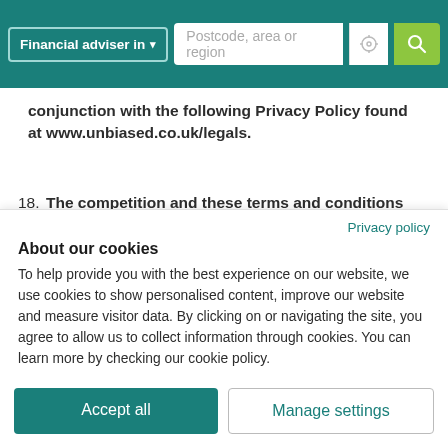Financial adviser in ▾   Postcode, area or region
conjunction with the following Privacy Policy found at www.unbiased.co.uk/legals.
18. The competition and these terms and conditions will be governed by English law and any disputes will be
Privacy policy
About our cookies
To help provide you with the best experience on our website, we use cookies to show personalised content, improve our website and measure visitor data. By clicking on or navigating the site, you agree to allow us to collect information through cookies. You can learn more by checking our cookie policy.
Accept all
Manage settings